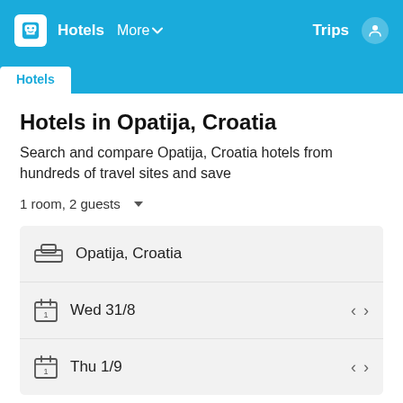Hotels  More   Trips
Hotels in Opatija, Croatia
Search and compare Opatija, Croatia hotels from hundreds of travel sites and save
1 room, 2 guests
Opatija, Croatia
Wed 31/8
Thu 1/9
Search